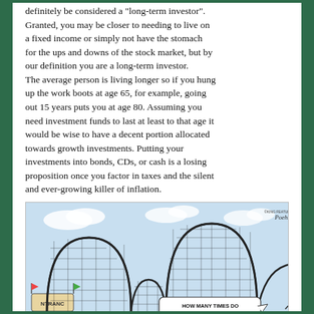definitely be considered a 'long-term investor'. Granted, you may be closer to needing to live on a fixed income or simply not have the stomach for the ups and downs of the stock market, but by our definition you are a long-term investor. The average person is living longer so if you hung up the work boots at age 65, for example, going out 15 years puts you at age 80. Assuming you need investment funds to last at least to that age it would be wise to have a decent portion allocated towards growth investments. Putting your investments into bonds, CDs, or cash is a losing proposition once you factor in taxes and the silent and ever-growing killer of inflation.
[Figure (illustration): Editorial cartoon showing a roller coaster with large looping tracks. At the bottom left is an 'ENTRANCE' sign with flags. A person stands at the right looking alarmed at the coaster. A speech bubble reads 'HOW MANY TIMES DO I HAVE TO TELL YOU... I'M AN INVESTOR...' The cartoon is signed by the artist (Poehner). Sky and grid-patterned coaster loops visible.]